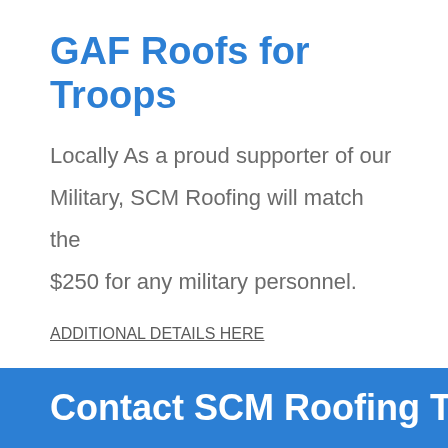GAF Roofs for Troops
Locally As a proud supporter of our Military, SCM Roofing will match the $250 for any military personnel.
ADDITIONAL DETAILS HERE
Contact SCM Roofing Today